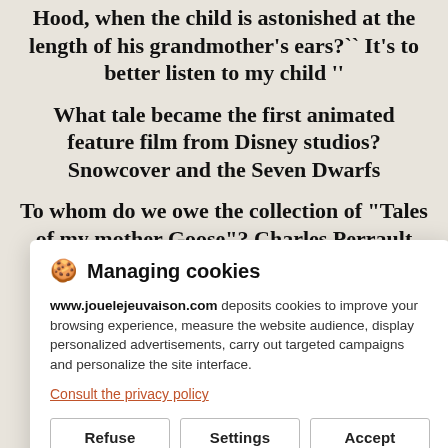Hood, when the child is astonished at the length of his grandmother's ears?`` It's to better listen to my child ''
What tale became the first animated feature film from Disney studios? Snowcover and the Seven Dwarfs
To whom do we owe the collection of "Tales of my mother Goose"? Charles Perrault
[Figure (screenshot): Cookie consent modal dialog with title 'Managing cookies', body text about www.jouelejeuvaison.com deposits, a privacy policy link, and three buttons: Refuse, Settings, Accept]
What were the first names of the Brothers